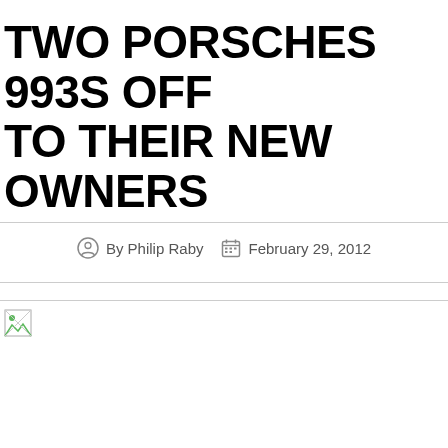TWO PORSCHES 993S OFF TO THEIR NEW OWNERS
By Philip Raby  February 29, 2012
[Figure (photo): Broken image placeholder for article photo]